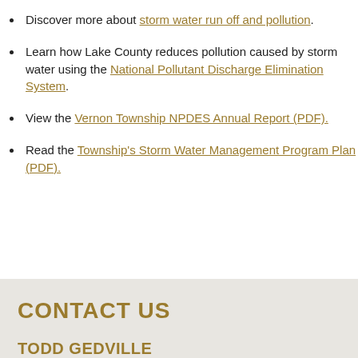Discover more about storm water run off and pollution.
Learn how Lake County reduces pollution caused by storm water using the National Pollutant Discharge Elimination System.
View the Vernon Township NPDES Annual Report (PDF).
Read the Township's Storm Water Management Program Plan (PDF).
CONTACT US
TODD GEDVILLE